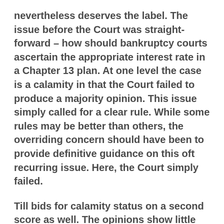nevertheless deserves the label. The issue before the Court was straight-forward – how should bankruptcy courts ascertain the appropriate interest rate in a Chapter 13 plan. At one level the case is a calamity in that the Court failed to produce a majority opinion. This issue simply called for a clear rule. While some rules may be better than others, the overriding concern should have been to provide definitive guidance on this oft recurring issue. Here, the Court simply failed.
Till bids for calamity status on a second score as well. The opinions show little regard for commercial law. To be sure, Justice Scalia's opinion demonstrates that he at least understood the basic